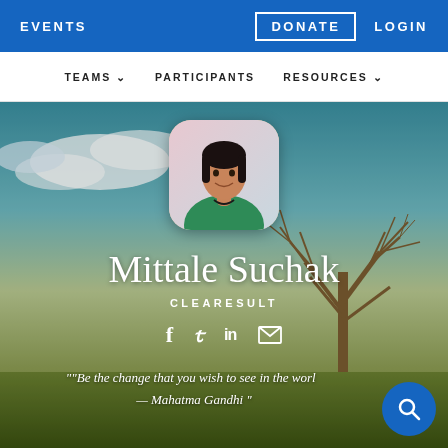EVENTS  DONATE  LOGIN
TEAMS  PARTICIPANTS  RESOURCES
[Figure (photo): Profile page banner with sky and tree background. Shows profile photo of Mittale Suchak (woman in green medical attire), name 'Mittale Suchak', company 'CLEARESULT', social media icons (Facebook, Twitter, LinkedIn, email), and quote: "Be the change that you wish to see in the world — Mahatma Gandhi"]
Mittale Suchak
CLEARESULT
""Be the change that you wish to see in the world — Mahatma Gandhi "